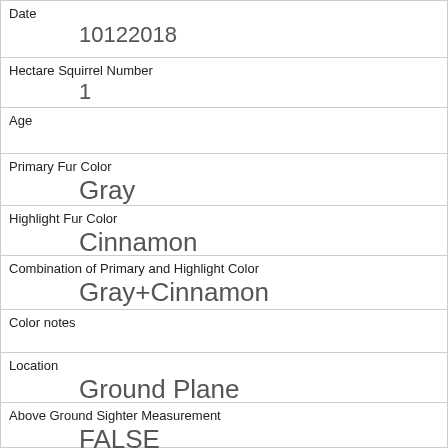| Field | Value |
| --- | --- |
| Date | 10122018 |
| Hectare Squirrel Number | 1 |
| Age |  |
| Primary Fur Color | Gray |
| Highlight Fur Color | Cinnamon |
| Combination of Primary and Highlight Color | Gray+Cinnamon |
| Color notes |  |
| Location | Ground Plane |
| Above Ground Sighter Measurement | FALSE |
| Specific Location |  |